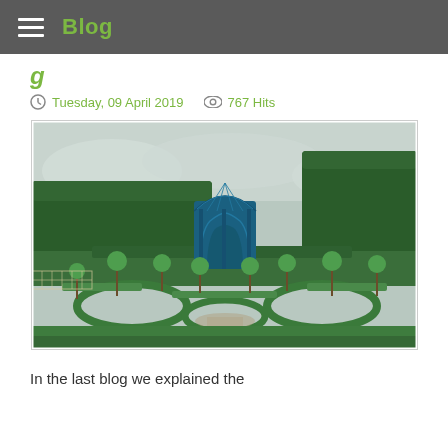Blog
g (partial title visible)
Tuesday, 09 April 2019   767 Hits
[Figure (photo): Formal garden with neatly clipped box hedges in circular and geometric patterns, standard rose trees, a blue ornamental iron gazebo or cage structure in the centre, tall dark green hedge backdrop, overcast sky.]
In the last blog we explained the